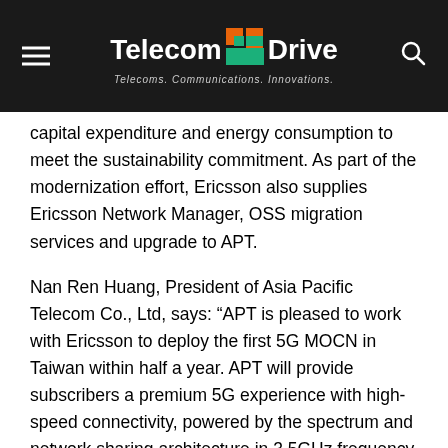TelecomDrive — Telecoms. Communications. Innovations.
capital expenditure and energy consumption to meet the sustainability commitment. As part of the modernization effort, Ericsson also supplies Ericsson Network Manager, OSS migration services and upgrade to APT.
Nan Ren Huang, President of Asia Pacific Telecom Co., Ltd, says: “APT is pleased to work with Ericsson to deploy the first 5G MOCN in Taiwan within half a year. APT will provide subscribers a premium 5G experience with high-speed connectivity, powered by the spectrum and network sharing architecture in 3.5GHz frequency band with 80MHz bandwidth. APT will continuously invest in the 5G networks and ecosystem while leveraging the vertical industry know-how to address the demand for individual, family, enterprises and government, to empower a 5G-driven economy.”